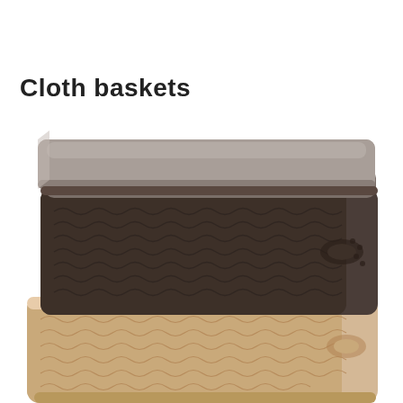[Figure (photo): Two stacked woven-texture plastic storage baskets with knit-pattern sides. The top basket is dark brown/charcoal with a flat taupe lid. The bottom basket is light beige/cream. Both baskets have oval cutout handles on the sides. Photographed on a white background.]
Cloth baskets